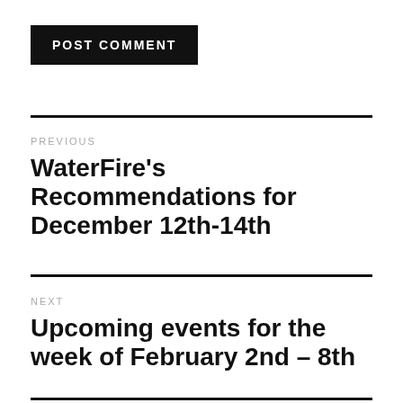POST COMMENT
PREVIOUS
WaterFire’s Recommendations for December 12th-14th
NEXT
Upcoming events for the week of February 2nd – 8th